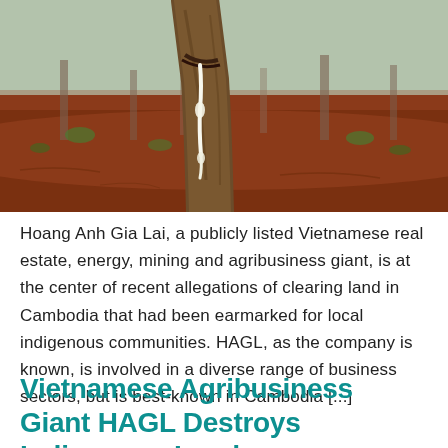[Figure (photo): Close-up photograph of a rubber tree trunk being tapped, with white latex sap dripping down the bark. Red soil and sparse vegetation visible in the background.]
Hoang Anh Gia Lai, a publicly listed Vietnamese real estate, energy, mining and agribusiness giant, is at the center of recent allegations of clearing land in Cambodia that had been earmarked for local indigenous communities. HAGL, as the company is known, is involved in a diverse range of business sectors, but is best-known in Cambodia [...]
Vietnamese Agribusiness Giant HAGL Destroys Indigenous Lands